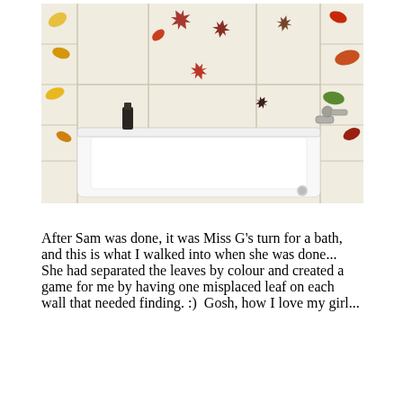[Figure (photo): A white bathtub in a bathroom with cream/beige tiles decorated with colorful autumn leaves (red, yellow, orange, green, dark maple leaves) arranged on the walls. A dark bottle of product sits on the left ledge of the tub. A faucet/showerhead fixture is visible on the right side.]
After Sam was done, it was Miss G's turn for a bath, and this is what I walked into when she was done...  She had separated the leaves by colour and created a game for me by having one misplaced leaf on each wall that needed finding. :)  Gosh, how I love my girl...